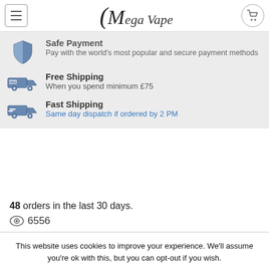Mega Vape
Safe Payment
Pay with the world's most popular and secure payment methods
Free Shipping
When you spend minimum £75
Fast Shipping
Same day dispatch if ordered by 2 PM
48 orders in the last 30 days.
6556
This website uses cookies to improve your experience. We'll assume you're ok with this, but you can opt-out if you wish.
Cookie settings
ACCEPT